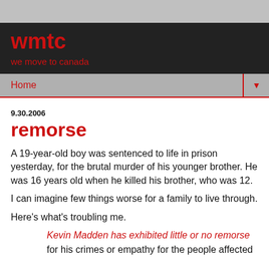wmtc
we move to canada
Home
9.30.2006
remorse
A 19-year-old boy was sentenced to life in prison yesterday, for the brutal murder of his younger brother. He was 16 years old when he killed his brother, who was 12.
I can imagine few things worse for a family to live through.
Here's what's troubling me.
Kevin Madden has exhibited little or no remorse
for his crimes or empathy for the people affected